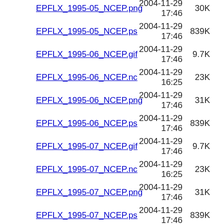EPFLX_1995-05_NCEP.png  2004-11-29 17:46  30K
EPFLX_1995-05_NCEP.ps  2004-11-29 17:46  839K
EPFLX_1995-06_NCEP.gif  2004-11-29 17:46  9.7K
EPFLX_1995-06_NCEP.nc  2004-11-29 16:25  23K
EPFLX_1995-06_NCEP.png  2004-11-29 17:46  31K
EPFLX_1995-06_NCEP.ps  2004-11-29 17:46  839K
EPFLX_1995-07_NCEP.gif  2004-11-29 17:46  9.7K
EPFLX_1995-07_NCEP.nc  2004-11-29 16:25  23K
EPFLX_1995-07_NCEP.png  2004-11-29 17:46  31K
EPFLX_1995-07_NCEP.ps  2004-11-29 17:46  839K
EPFLX_1995-08_NCEP.gif  2004-11-29 17:46  9.8K
EPFLX_1995-08_NCEP.nc  2004-11-29 ...